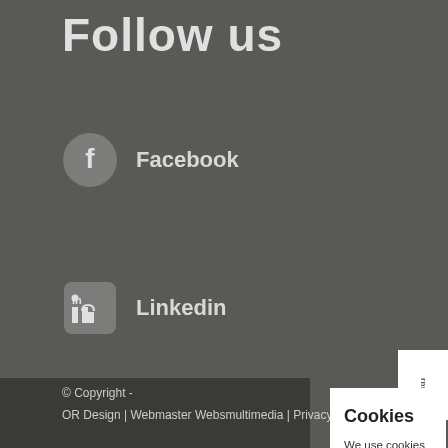Follow us
Facebook
Linkedin
Youtube
Instagra
Cookies
We use cookies on our website to give you the most relevant experience by remembering your preferences and repeat visits. By clicking “Accept”, you consent to the use of ALL the cookies.
Cookie settings   ACCEPT
© Copyright -
OR Design | Webmaster Websmultimedia | Privacy Policy